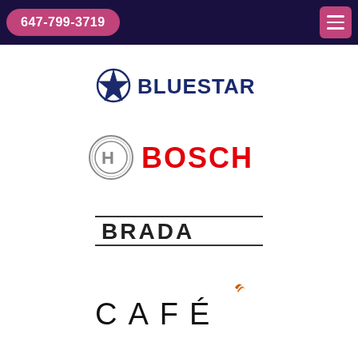647-799-3719
[Figure (logo): BlueStar brand logo with blue star icon and BLUESTAR text in dark navy]
[Figure (logo): Bosch brand logo with circular emblem and BOSCH text in red]
[Figure (logo): Brada brand logo with BRADA text in dark letters between two horizontal lines]
[Figure (logo): Cafe brand logo with CAFÉ text in black spaced letters and orange flame accent]